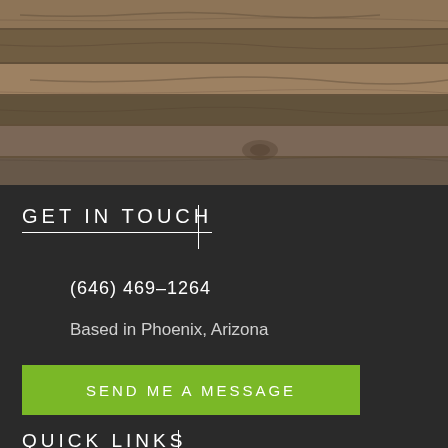[Figure (photo): Wood plank texture background with horizontal planks in tan, brown, and grey tones]
GET IN TOUCH
(646) 469-1264
Based in Phoenix, Arizona
SEND ME A MESSAGE
QUICK LINKS